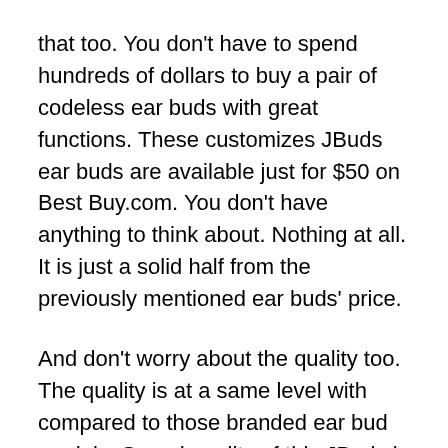that too. You don't have to spend hundreds of dollars to buy a pair of codeless ear buds with great functions. These customizes JBuds ear buds are available just for $50 on Best Buy.com. You don't have anything to think about. Nothing at all. It is just a solid half from the previously mentioned ear buds' price.
And don't worry about the quality too. The quality is at a same level with compared to those branded ear bud models. Sound quality of this JBuds is at the same level with SONY and Apple Air Pods. But as in everything this also has a disadvantage with it. It is not as comfy as previously mentioned ear buds. But the battery life of this JBuds is